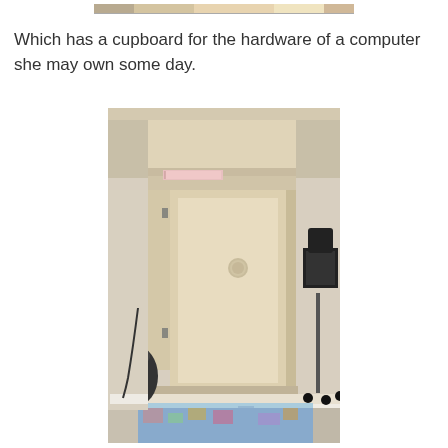[Figure (photo): Partial top image cropped at top of page showing colorful items on a desk surface]
Which has a cupboard for the hardware of a computer she may own some day.
[Figure (photo): Photo of an open wooden cupboard/cabinet built into a desk unit, showing the interior with a cable management hole, hinges visible on open door, a book on a slide-out shelf above, a black office chair to the right, a colorful rug on the floor, and a black bag on the left floor.]